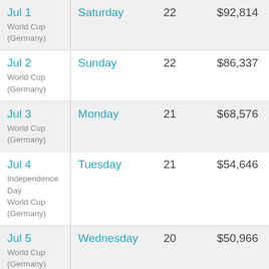| Date | Day | Count | Revenue |
| --- | --- | --- | --- |
| Jul 1
World Cup (Germany) | Saturday | 22 | $92,814 |
| Jul 2
World Cup (Germany) | Sunday | 22 | $86,337 |
| Jul 3
World Cup (Germany) | Monday | 21 | $68,576 |
| Jul 4
Independence Day
World Cup (Germany) | Tuesday | 21 | $54,646 |
| Jul 5
World Cup (Germany) | Wednesday | 20 | $50,966 |